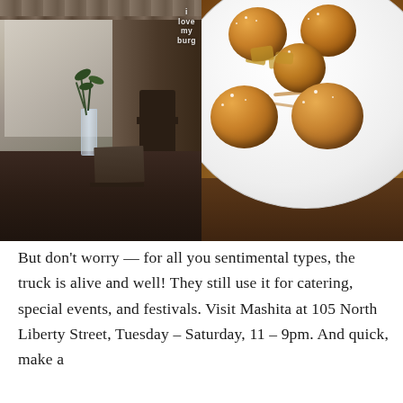[Figure (photo): Two side-by-side restaurant photos: left shows a café interior with a glass vase holding a small plant on a dark wooden table near a window with curtains; right shows a white plate with golden-brown fried doughnut balls (beignets or fritters) topped with powdered sugar and caramel apple chunks. A watermark reads 'i love my burg' in the upper right of the left photo.]
But don't worry — for all you sentimental types, the truck is alive and well! They still use it for catering, special events, and festivals. Visit Mashita at 105 North Liberty Street, Tuesday – Saturday, 11 – 9pm. And quick, make a